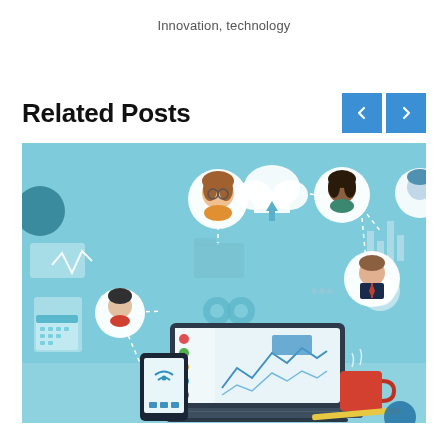Innovation, technology
Related Posts
[Figure (illustration): Technology network illustration showing people avatars connected by dotted lines to a central cloud icon, with a laptop displaying a dashboard/chart, a smartphone with wifi icon, gears, a coffee mug, and various tech icons on a light blue background.]